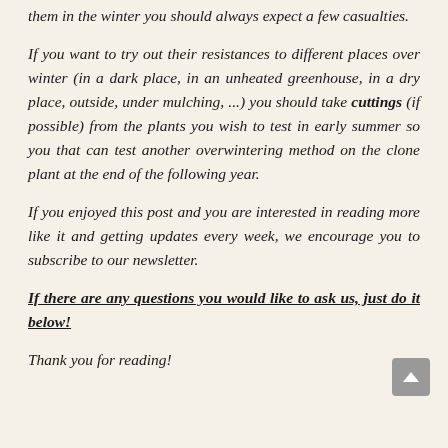them in the winter you should always expect a few casualties.
If you want to try out their resistances to different places over winter (in a dark place, in an unheated greenhouse, in a dry place, outside, under mulching, ...) you should take cuttings (if possible) from the plants you wish to test in early summer so you that can test another overwintering method on the clone plant at the end of the following year.
If you enjoyed this post and you are interested in reading more like it and getting updates every week, we encourage you to subscribe to our newsletter.
If there are any questions you would like to ask us, just do it below!
Thank you for reading!